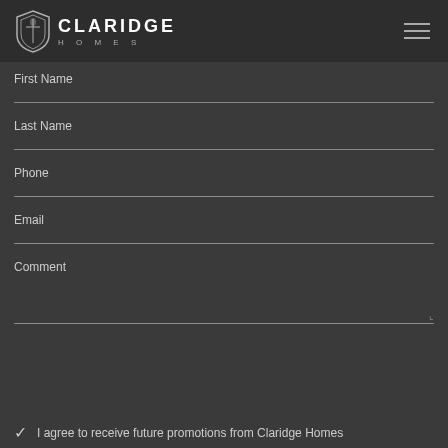[Figure (logo): Claridge Homes logo with shield/crest icon on left and text CLARIDGE HOMES on right, white on dark background]
First Name
Last Name
Phone
Email
Comment
I agree to receive future promotions from Claridge Homes